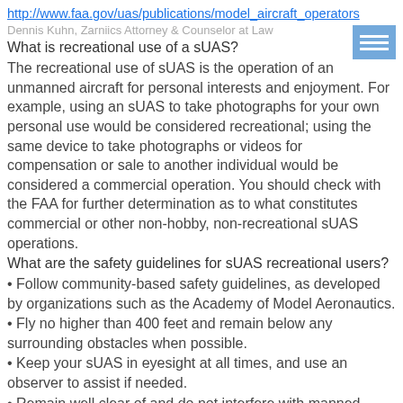http://www.faa.gov/uas/publications/model_aircraft_operators
What is recreational use of a sUAS?
The recreational use of sUAS is the operation of an unmanned aircraft for personal interests and enjoyment. For example, using an sUAS to take photographs for your own personal use would be considered recreational; using the same device to take photographs or videos for compensation or sale to another individual would be considered a commercial operation. You should check with the FAA for further determination as to what constitutes commercial or other non-hobby, non-recreational sUAS operations.
What are the safety guidelines for sUAS recreational users?
Follow community-based safety guidelines, as developed by organizations such as the Academy of Model Aeronautics.
Fly no higher than 400 feet and remain below any surrounding obstacles when possible.
Keep your sUAS in eyesight at all times, and use an observer to assist if needed.
Remain well clear of and do not interfere with manned aircraft operations, and you must see and avoid other aircraft and obstacles at all times.
Do not intentionally fly over unprotected persons or